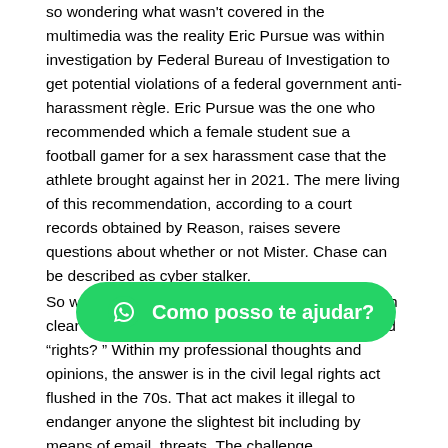so wondering what wasn't covered in the multimedia was the reality Eric Pursue was within investigation by Federal Bureau of Investigation to get potential violations of a federal government anti-harassment règle. Eric Pursue was the one who recommended which a female student sue a football gamer for a sex harassment case that the athlete brought against her in 2021. The mere living of this recommendation, according to a court records obtained by Reason, raises severe questions about whether or not Mister. Chase can be described as cyber stalker.
So why have the government enable someone with clear hazards to roam free along with his ill-defined “rights? ” Within my professional thoughts and opinions, the answer is in the civil legal rights act flushed in the 70s. That act makes it illegal to endanger anyone the slightest bit including by means of email, threats. The challenge w... as not sending emails; he was being paid on his blog. And that is a completely
[Figure (other): WhatsApp chat widget button with green background, WhatsApp icon, and text 'Como posso te ajudar?']